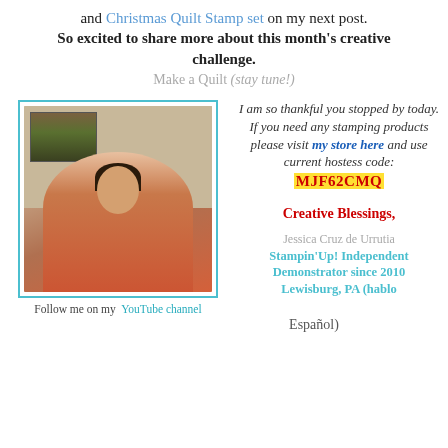and Christmas Quilt Stamp set on my next post. So excited to share more about this month's creative challenge.
Make a Quilt (stay tune!)
[Figure (photo): A woman in a red/orange top smiling at camera, with a painting visible in the background, shown in a teal-bordered frame.]
Follow me on my YouTube channel
I am so thankful you stopped by today. If you need any stamping products please visit my store here and use current hostess code: MJF62CMQ
Creative Blessings,
Jessica Cruz de Urrutia Stampin'Up! Independent Demonstrator since 2010 Lewisburg, PA (hablo Español)